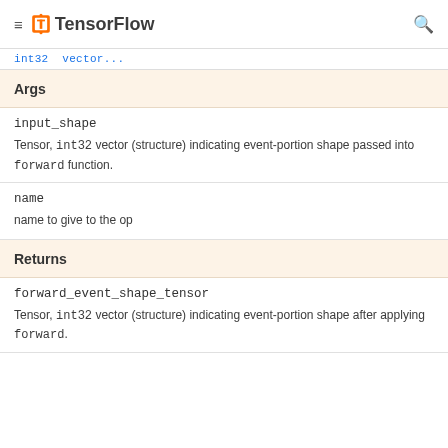TensorFlow
int32 vector...
Args
input_shape — Tensor, int32 vector (structure) indicating event-portion shape passed into forward function.
name — name to give to the op
Returns
forward_event_shape_tensor — Tensor, int32 vector (structure) indicating event-portion shape after applying forward.